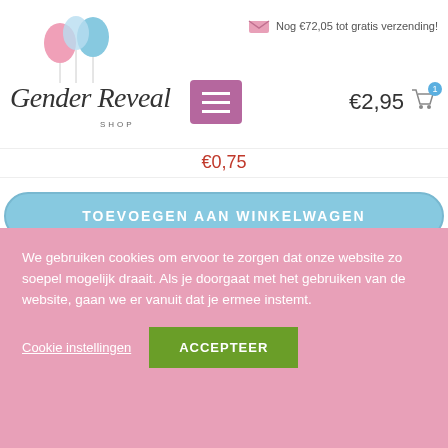[Figure (logo): Gender Reveal Shop logo with pink and blue balloons and cursive text]
Nog €72,05 tot gratis verzending!
€2,95
€0,75
TOEVOEGEN AAN WINKELWAGEN
We gebruiken cookies om ervoor te zorgen dat onze website zo soepel mogelijk draait. Als je doorgaat met het gebruiken van de website, gaan we er vanuit dat je ermee instemt.
Cookie instellingen
ACCEPTEER